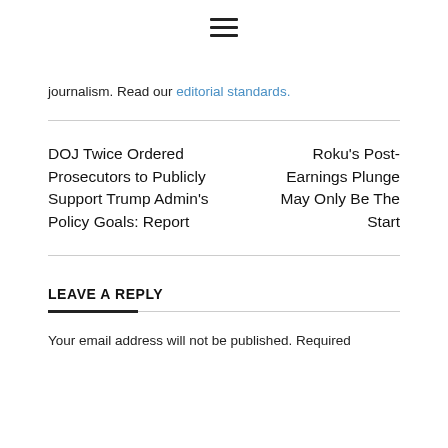[Figure (other): Hamburger menu icon (three horizontal lines)]
journalism. Read our editorial standards.
DOJ Twice Ordered Prosecutors to Publicly Support Trump Admin's Policy Goals: Report
Roku's Post-Earnings Plunge May Only Be The Start
LEAVE A REPLY
Your email address will not be published. Required